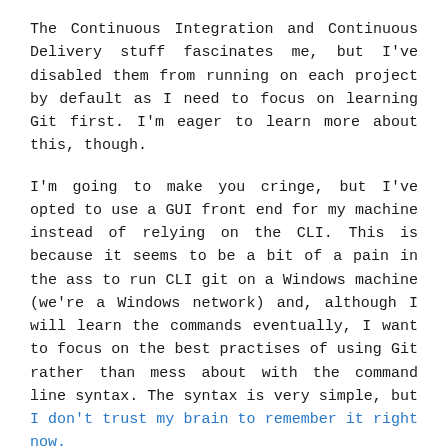The Continuous Integration and Continuous Delivery stuff fascinates me, but I've disabled them from running on each project by default as I need to focus on learning Git first. I'm eager to learn more about this, though.
I'm going to make you cringe, but I've opted to use a GUI front end for my machine instead of relying on the CLI. This is because it seems to be a bit of a pain in the ass to run CLI git on a Windows machine (we're a Windows network) and, although I will learn the commands eventually, I want to focus on the best practises of using Git rather than mess about with the command line syntax. The syntax is very simple, but I don't trust my brain to remember it right now.
I've chosen to use the GitHub GUI for now. It works pretty well. I've moved six of my currently active